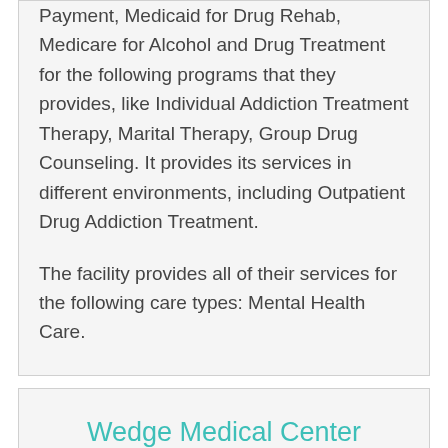Payment, Medicaid for Drug Rehab, Medicare for Alcohol and Drug Treatment for the following programs that they provides, like Individual Addiction Treatment Therapy, Marital Therapy, Group Drug Counseling. It provides its services in different environments, including Outpatient Drug Addiction Treatment.
The facility provides all of their services for the following care types: Mental Health Care.
Wedge Medical Center
Wedge Medical Center is located in